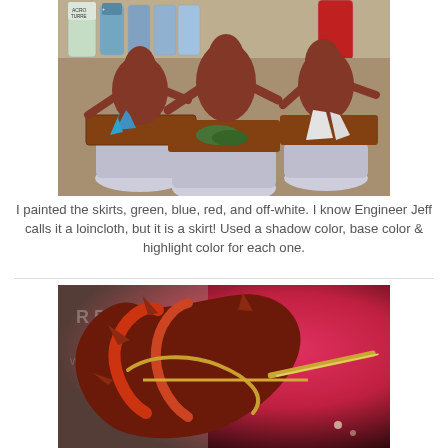[Figure (photo): Three red-primed fantasy miniature figures on square bases, mounted on jar lids for painting. Paint bottles visible in background. One figure has a blue cloth, one has green foliage on base, one has white cloth. All figures are heavily primed in dark red/brown.]
I painted the skirts, green, blue, red, and off-white. I know Engineer Jeff calls it a loincloth, but it is a skirt! Used a shadow color, base color & highlight color for each one.
[Figure (photo): Close-up macro photograph of a painted fantasy miniature figure showing detailed red and brown armor/carapace with gold/bronze trim and blade weapon. Background is blurred pink/red.]